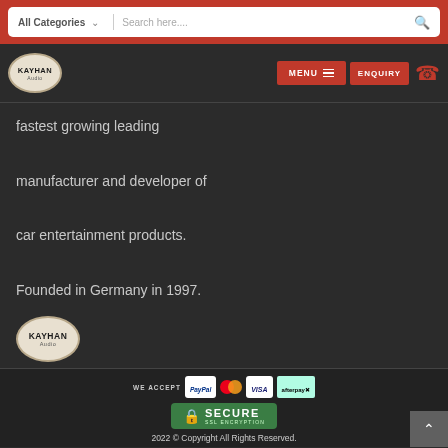[Figure (screenshot): Search bar with All Categories dropdown and search field]
[Figure (logo): Kayhan Audio logo with MENU and ENQUIRY navigation buttons]
fastest growing leading manufacturer and developer of car entertainment products. Founded in Germany in 1997.
[Figure (logo): Kayhan Audio footer logo badge]
[Figure (infographic): WE ACCEPT payment icons: PayPal, Mastercard, VISA, afterpay. Secure SSL Encryption badge.]
2022 © Copyright All Rights Reserved.